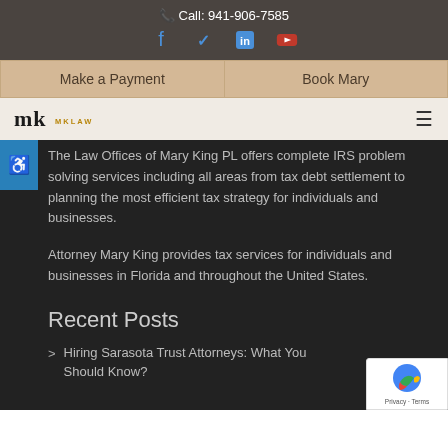Call: 941-906-7585
Make a Payment | Book Mary
mk [logo]
The Law Offices of Mary King PL offers complete IRS problem solving services including all areas from tax debt settlement to planning the most efficient tax strategy for individuals and businesses.
Attorney Mary King provides tax services for individuals and businesses in Florida and throughout the United States.
Recent Posts
Hiring Sarasota Trust Attorneys: What You Should Know?